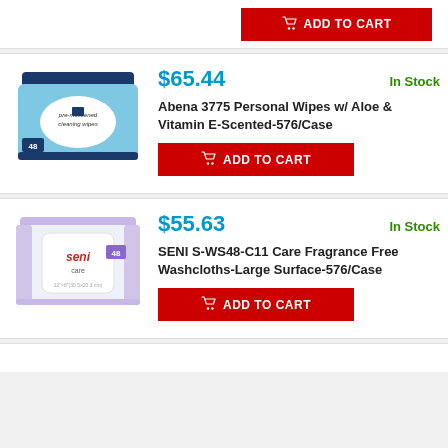[Figure (photo): Partial product row with ADD TO CART button visible at top]
[Figure (photo): Abena 3775 pre-moistened cleaning wipes package, blue, 48 count]
$65.44
In Stock
Abena 3775 Personal Wipes w/ Aloe & Vitamin E-Scented-576/Case
[Figure (other): ADD TO CART button]
[Figure (photo): SENI care washcloths package, white/purple, 48 count]
$55.63
In Stock
SENI S-WS48-C11 Care Fragrance Free Washcloths-Large Surface-576/Case
[Figure (other): ADD TO CART button]